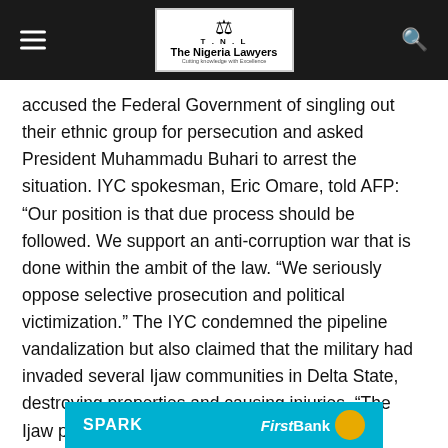The Nigeria Lawyers
accused the Federal Government of singling out their ethnic group for persecution and asked President Muhammadu Buhari to arrest the situation. IYC spokesman, Eric Omare, told AFP: "Our position is that due process should be followed. We support an anti-corruption war that is done within the ambit of the law. "We seriously oppose selective prosecution and political victimization." The IYC condemned the pipeline vandalization but also claimed that the military had invaded several Ijaw communities in Delta State, destroying properties and causing injuries. "The Ijaw people are not at war with the federal government. We call on the military to exercise restraint in their actions. There is no basis to attack innocent villagers," said Omare.]]>
[Figure (logo): SPARK and FirstBank advertisement banner in cyan/blue color]